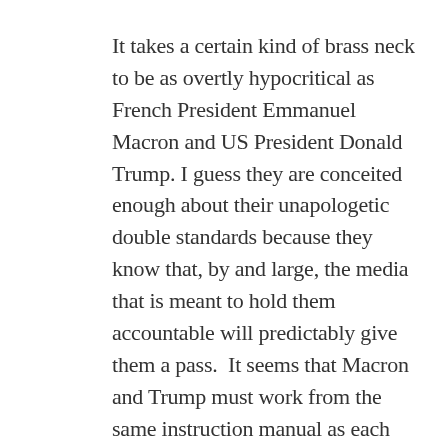It takes a certain kind of brass neck to be as overtly hypocritical as French President Emmanuel Macron and US President Donald Trump. I guess they are conceited enough about their unapologetic double standards because they know that, by and large, the media that is meant to hold them accountable will predictably give them a pass.  It seems that Macron and Trump must work from the same instruction manual as each other in how they approach Venezuela, or I guess any government that doesn't adhere to the neoliberal list of non-negotiable demands.  It doesn't take any kind of detailed digging to see that the rule of what applies to Venezuela doesn't